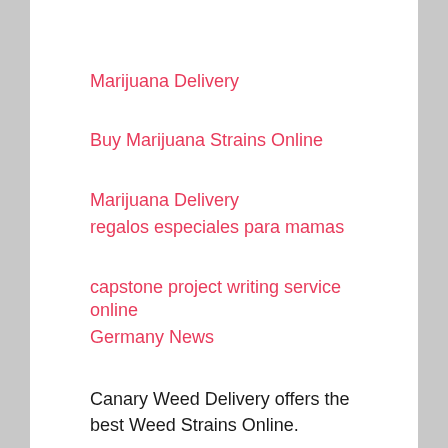Marijuana Delivery
Buy Marijuana Strains Online
Marijuana Delivery
regalos especiales para mamas
capstone project writing service online
Germany News
Canary Weed Delivery offers the best Weed Strains Online.
Buy Weed Online
Glock for Sale